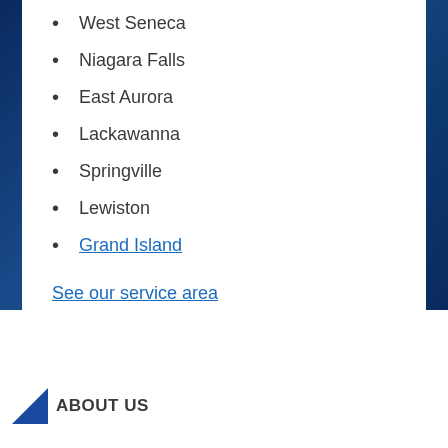West Seneca
Niagara Falls
East Aurora
Lackawanna
Springville
Lewiston
Grand Island
See our service area
ABOUT US